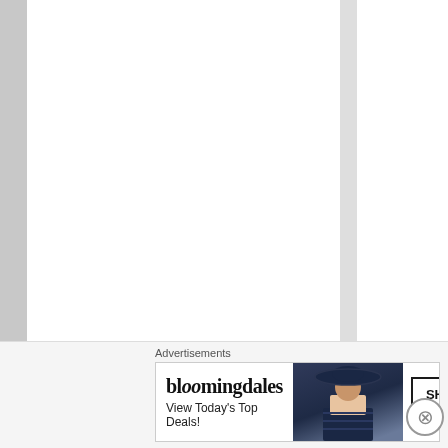[Figure (screenshot): A web page screenshot showing a multi-column layout with a light gray background. A highlighted vertical column contains vertical text reading 'Admin and you will se' rendered character by character top to bottom. The bottom portion shows an advertisement section labeled 'Advertisements' featuring a Bloomingdale's banner ad with the text 'View Today's Top Deals!' and a 'SHOP NOW >' call-to-action button, alongside an image of a woman in a wide-brim hat.]